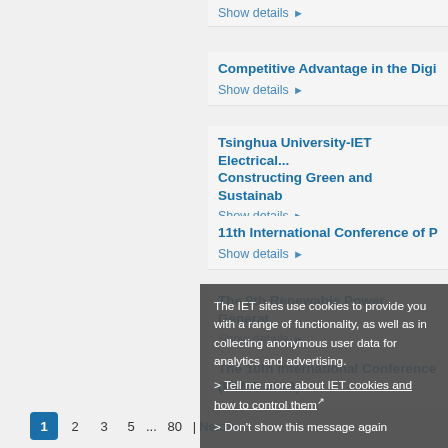Show details ▶
Competitive Advantage in the Digi...
Show details ▶
Tsinghua University-IET Electrical... Constructing Green and Sustainab...
Show details ▶
11th International Conference of P...
Show details ▶
The 9th Renewable Power Generat...
Show details ▶
The 10th International Conference (PEMD 2020)
Show details ▶
The IET sites use cookies to provide you with a range of functionality, as well as in collecting anonymous user data for analytics and advertising.
> Tell me more about IET cookies and how to control them
> Don't show this message again
1  2  3  5  ...  80  |  Next >